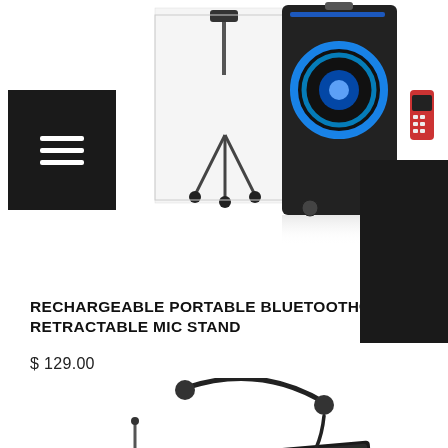[Figure (photo): Top strip showing speaker system with mic stand, Bluetooth speaker with LED light, remote control, tablet with wifi icon. Navigation hamburger menu on left, accessibility icon on right.]
RECHARGEABLE PORTABLE BLUETOOTH® SPEAKER WITH RETRACTABLE MIC STAND
$ 129.00
[Figure (photo): Portable solar-powered radio/speaker device with headset microphone and solar panel, yellow flashlight lit on left side.]